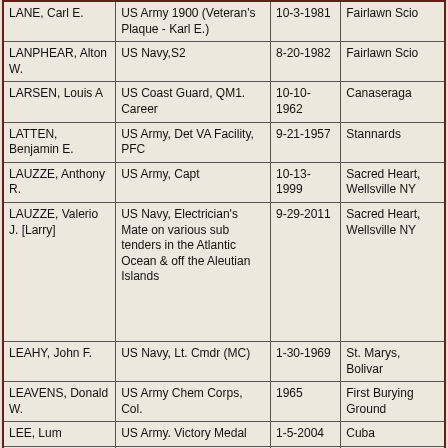| Name | Service | Date | Cemetery |
| --- | --- | --- | --- |
| LANE, Carl E. | US Army 1900 (Veteran's Plaque - Karl E.) | 10-3-1981 | Fairlawn Scio |
| LANPHEAR, Alton W. | US Navy,S2 | 8-20-1982 | Fairlawn Scio |
| LARSEN, Louis A | US Coast Guard, QM1. Career | 10-10-1962 | Canaseraga |
| LATTEN, Benjamin E. | US Army, Det VA Facility, PFC | 9-21-1957 | Stannards |
| LAUZZE, Anthony R. | US Army, Capt | 10-13-1999 | Sacred Heart, Wellsville NY |
| LAUZZE, Valerio J. [Larry] | US Navy, Electrician's Mate on various sub tenders in the Atlantic Ocean & off the Aleutian Islands | 9-29-2011 | Sacred Heart, Wellsville NY |
| LEAHY, John F. | US Navy, Lt. Cmdr (MC) | 1-30-1969 | St. Marys, Bolivar |
| LEAVENS, Donald W. | US Army Chem Corps, Col. | 1965 | First Burying Ground |
| LEE, Lum | US Army. Victory Medal | 1-5-2004 | Cuba |
| LEHMAN, George Leslie | US Army | 7-04-2004 | Hillside, Andover |
|  | US Navy. Aboard the aircraft carrier USS RangerHo... |  |  |